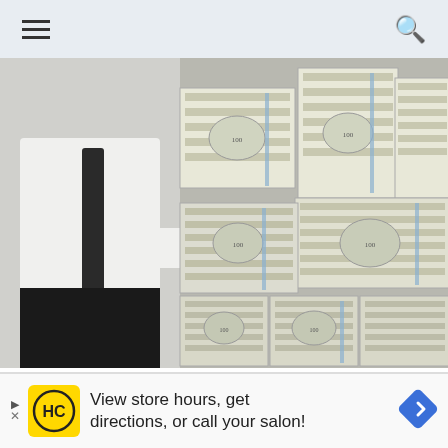Navigation bar with hamburger menu and search icon
[Figure (photo): A person in a white shirt and dark tie/suit standing next to large stacks of bundled US dollar bills piled high]
Governments Grants That Don't Require Any Payment
View store hours, get directions, or call your salon!